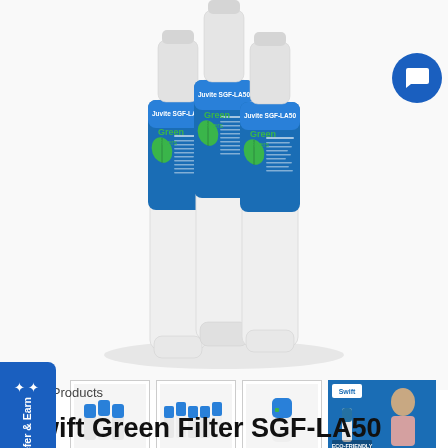[Figure (photo): Three white water filter cartridges with blue Juvite SGF-LA50 labels arranged side by side on a white background]
[Figure (photo): Thumbnail: 3-pack of SGF-LA50 water filters]
[Figure (photo): Thumbnail: 6-pack of SGF-LA50 water filters]
[Figure (photo): Thumbnail: Single SGF-LA50 water filter]
[Figure (photo): Thumbnail: Lifestyle/marketing image with eco-friendly text and woman drinking water]
Swift Products
Swift Green Filter SGF-LA50